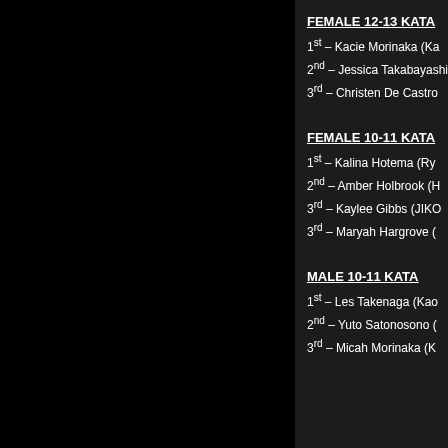FEMALE 12-13 KATA
1st – Kacie Morinaka (Ka
2nd – Jessica Takabayashi
3rd – Christen De Castro
FEMALE 10-11 KATA
1st – Kalina Hotema (Ry
2nd – Amber Holbrook (H
3rd – Kaylee Gibbs (JIKO
3rd – Maryah Hargrove (
MALE 10-11 KATA
1st – Les Takenaga (Kao
2nd – Yuto Satonosono (
3rd – Micah Morinaka (K